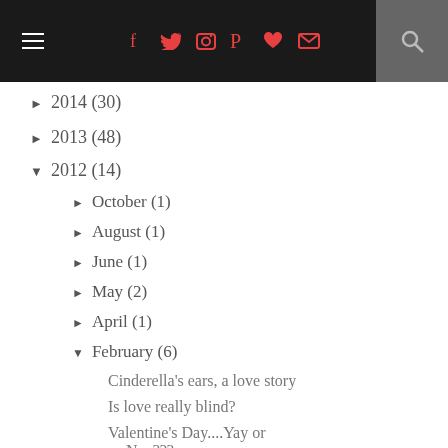Navigation bar with hamburger menu, social icons (facebook, twitter, instagram, pinterest, heart, email), and search icon
► 2014 (30)
► 2013 (48)
▼ 2012 (14)
► October (1)
► August (1)
► June (1)
► May (2)
► April (1)
▼ February (6)
Cinderella's ears, a love story
Is love really blind?
Valentine's Day....Yay or Nay???